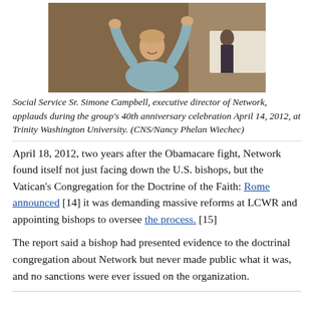[Figure (photo): Woman applauding indoors, wearing a gray blazer, at an event with other people visible in the background.]
Social Service Sr. Simone Campbell, executive director of Network, applauds during the group's 40th anniversary celebration April 14, 2012, at Trinity Washington University. (CNS/Nancy Phelan Wiechec)
April 18, 2012, two years after the Obamacare fight, Network found itself not just facing down the U.S. bishops, but the Vatican's Congregation for the Doctrine of the Faith: Rome announced [14] it was demanding massive reforms at LCWR and appointing bishops to oversee the process. [15]
The report said a bishop had presented evidence to the doctrinal congregation about Network but never made public what it was, and no sanctions were ever issued on the organization.